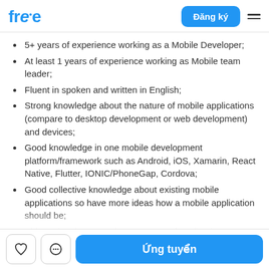free — Đăng ký
5+ years of experience working as a Mobile Developer;
At least 1 years of experience working as Mobile team leader;
Fluent in spoken and written in English;
Strong knowledge about the nature of mobile applications (compare to desktop development or web development) and devices;
Good knowledge in one mobile development platform/framework such as Android, iOS, Xamarin, React Native, Flutter, IONIC/PhoneGap, Cordova;
Good collective knowledge about existing mobile applications so have more ideas how a mobile application should be;
Able to develop more than one type of application
Ứng tuyển